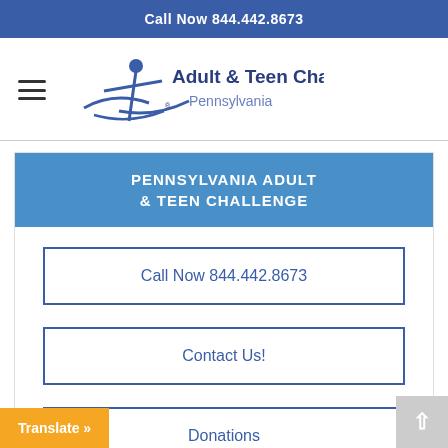Call Now 844.442.8673
[Figure (logo): Adult & Teen Challenge Pennsylvania logo with stylized star/person figure in blue]
PENNSYLVANIA ADULT & TEEN CHALLENGE
Call Now 844.442.8673
Contact Us!
Donations
Translate »